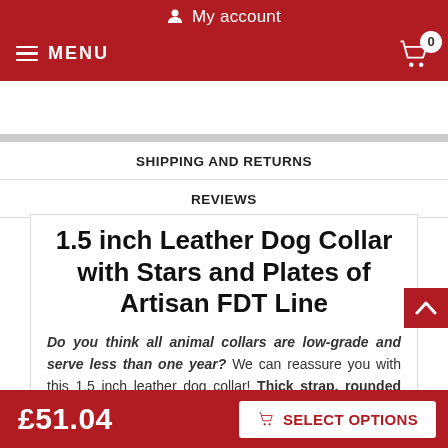My account
SHIPPING AND RETURNS
REVIEWS
1.5 inch Leather Dog Collar with Stars and Plates of Artisan FDT Line
Do you think all animal collars are low-grade and serve less than one year? We can reassure you with this 1.5 inch leather dog collar! Thick strap, rounded edges, ideally polished hardware. In addition, our designer dog accessories are and made
£51.04   SELECT OPTIONS